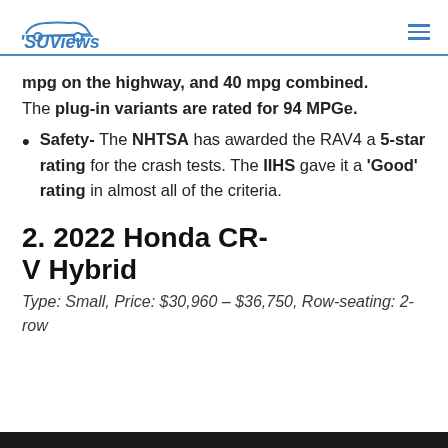SUViews
mpg on the highway, and 40 mpg combined. The plug-in variants are rated for 94 MPGe.
Safety- The NHTSA has awarded the RAV4 a 5-star rating for the crash tests. The IIHS gave it a 'Good' rating in almost all of the criteria.
2. 2022 Honda CR-V Hybrid
Type: Small, Price: $30,960 – $36,750, Row-seating: 2-row